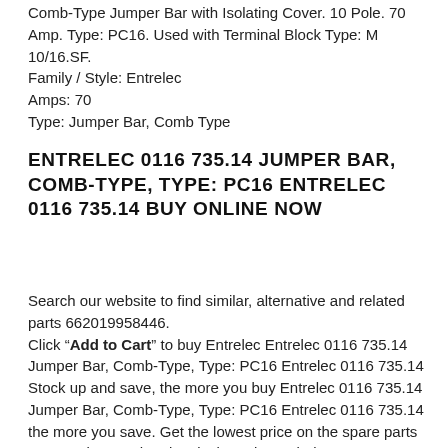Comb-Type Jumper Bar with Isolating Cover. 10 Pole. 70 Amp. Type: PC16. Used with Terminal Block Type: M 10/16.SF.
Family / Style: Entrelec
Amps: 70
Type: Jumper Bar, Comb Type
ENTRELEC 0116 735.14 JUMPER BAR, COMB-TYPE, TYPE: PC16 ENTRELEC 0116 735.14 BUY ONLINE NOW
Search our website to find similar, alternative and related parts 662019958446.
Click "Add to Cart" to buy Entrelec Entrelec 0116 735.14 Jumper Bar, Comb-Type, Type: PC16 Entrelec 0116 735.14 Stock up and save, the more you buy Entrelec 0116 735.14 Jumper Bar, Comb-Type, Type: PC16 Entrelec 0116 735.14 the more you save. Get the lowest price on the spare parts you need to get the electrical repair needed.